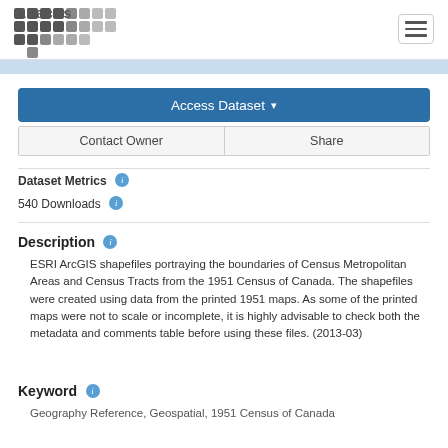[Figure (logo): Abacus logo - grid of colored squares spelling 'abacus']
Access Dataset ▾
Contact Owner | Share
Dataset Metrics
540 Downloads
Description
ESRI ArcGIS shapefiles portraying the boundaries of Census Metropolitan Areas and Census Tracts from the 1951 Census of Canada. The shapefiles were created using data from the printed 1951 maps. As some of the printed maps were not to scale or incomplete, it is highly advisable to check both the metadata and comments table before using these files. (2013-03)
Keyword
Geography Reference, Geospatial, 1951 Census of Canada